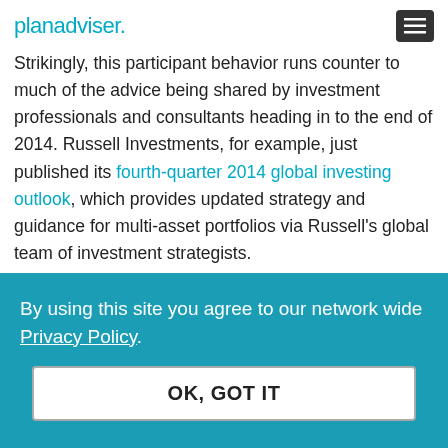planadviser
Strikingly, this participant behavior runs counter to much of the advice being shared by investment professionals and consultants heading in to the end of 2014. Russell Investments, for example, just published its fourth-quarter 2014 global investing outlook, which provides updated strategy and guidance for multi-asset portfolios via Russell's global team of investment strategists.
While investors are currently experiencing the third-
By using this site you agree to our network wide Privacy Policy.
OK, GOT IT